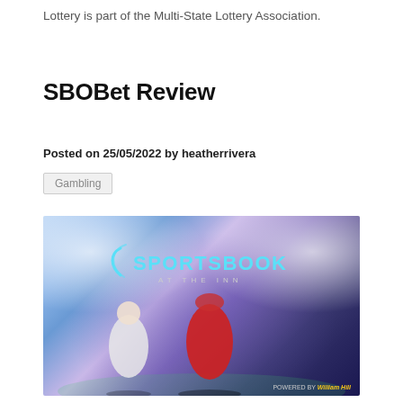Lottery is part of the Multi-State Lottery Association.
SBOBet Review
Posted on 25/05/2022 by heatherrivera
Gambling
[Figure (photo): Sportsbook at the Inn promotional image showing football and soccer players in a stadium with blue and purple lighting.]